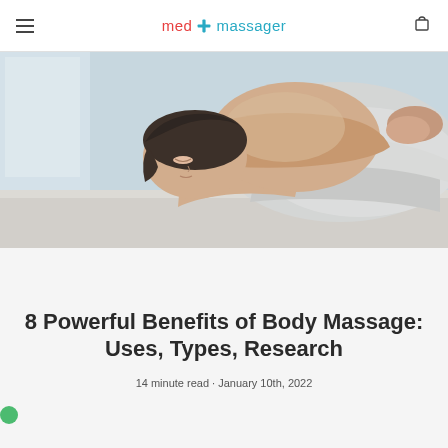med massager
[Figure (photo): Woman lying face down on massage table, eyes closed, wrapped in white towel, relaxed during a massage session]
8 Powerful Benefits of Body Massage: Uses, Types, Research
14 minute read · January 10th, 2022